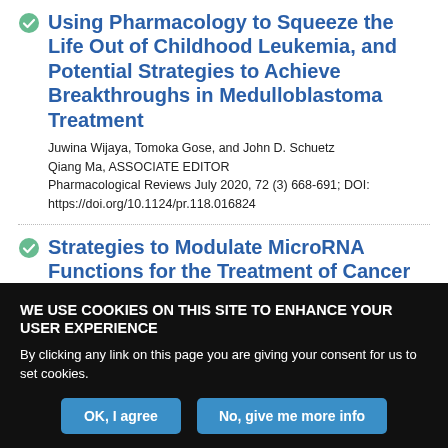Using Pharmacology to Squeeze the Life Out of Childhood Leukemia, and Potential Strategies to Achieve Breakthroughs in Medulloblastoma Treatment
Juwina Wijaya, Tomoka Gose, and John D. Schuetz
Qiang Ma, ASSOCIATE EDITOR
Pharmacological Reviews July 2020, 72 (3) 668-691; DOI: https://doi.org/10.1124/pr.118.016824
Strategies to Modulate MicroRNA Functions for the Treatment of Cancer or Organ Injury
WE USE COOKIES ON THIS SITE TO ENHANCE YOUR USER EXPERIENCE
By clicking any link on this page you are giving your consent for us to set cookies.